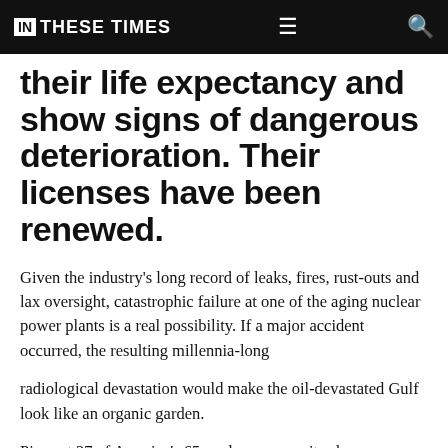IN THESE TIMES
their life expectancy and show signs of dangerous deterioration. Their licenses have been renewed.
Given the industry's long record of leaks, fires, rust-outs and lax oversight, catastrophic failure at one of the aging nuclear power plants is a real possibility. If a major accident occurred, the resulting millennia-long
radiological devastation would make the oil-devastated Gulf look like an organic garden.
Pipes at 27 of America's 65 nuclear power sites have